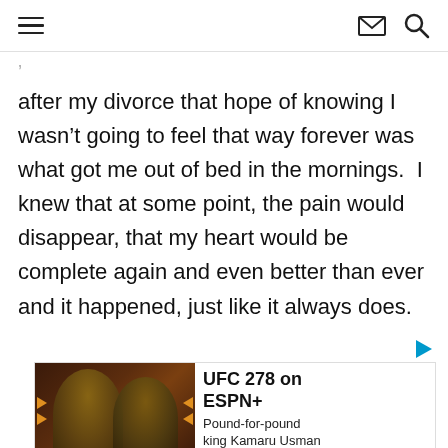navigation bar with hamburger menu, mail icon, search icon
after my divorce that hope of knowing I wasn’t going to feel that way forever was what got me out of bed in the mornings.  I knew that at some point, the pain would disappear, that my heart would be complete again and even better than ever and it happened, just like it always does.
[Figure (screenshot): Advertisement for UFC 278 on ESPN+. Shows two fighters facing each other against a dark reddish-brown background with orange arrow graphics. Text reads: UFC 278 on ESPN+ Pound-for-pound king Kamaru Usman defends his welterweight crown against Leon (partially visible)]